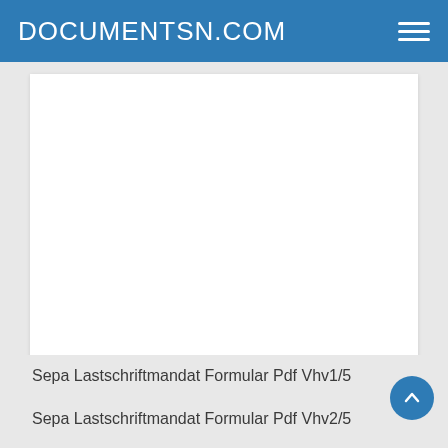DOCUMENTSN.COM
Sepa Lastschriftmandat Formular Pdf Vhv1/5
Sepa Lastschriftmandat Formular Pdf Vhv2/5